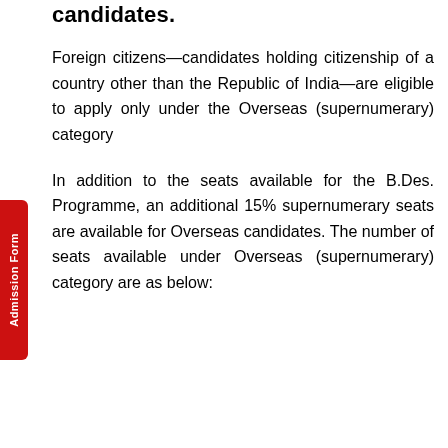candidates.
Foreign citizens—candidates holding citizenship of a country other than the Republic of India—are eligible to apply only under the Overseas (supernumerary) category
In addition to the seats available for the B.Des. Programme, an additional 15% supernumerary seats are available for Overseas candidates. The number of seats available under Overseas (supernumerary) category are as below: